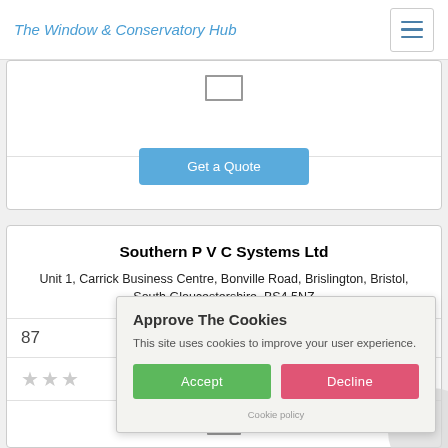The Window & Conservatory Hub
[Figure (screenshot): Partial card with a window icon and a blue 'Get a Quote' button]
Southern P V C Systems Ltd
Unit 1, Carrick Business Centre, Bonville Road, Brislington, Bristol, South Gloucestershire, BS4 5NZ
87
★★★
Approve The Cookies
This site uses cookies to improve your user experience.
Accept
Decline
Cookie policy